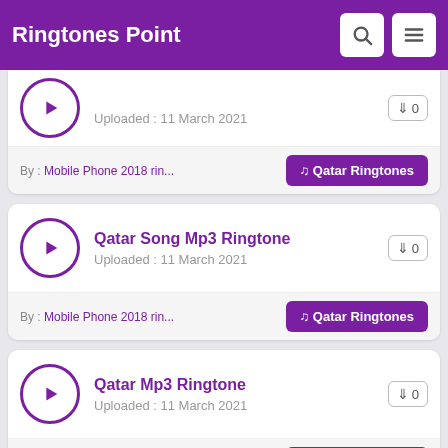Ringtones Point
Uploaded : 11 March 2021
By : Mobile Phone 2018 rin...  ♫ Qatar Ringtones
Qatar Song Mp3 Ringtone
Uploaded : 11 March 2021
By : Mobile Phone 2018 rin...  ♫ Qatar Ringtones
Qatar Mp3 Ringtone
Uploaded : 11 March 2021
By : Mobile Phone 2018 rin...  ♫ Qatar Ringtones